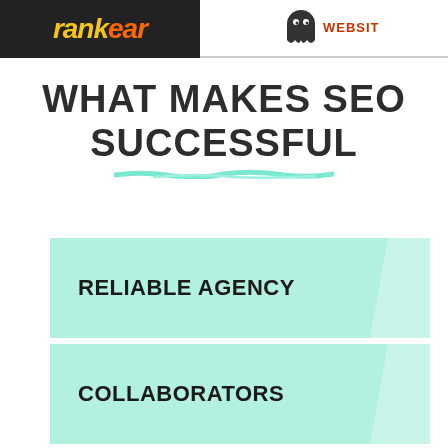[Figure (logo): RankEar logo on dark background (left) and ghost/monster websites logo (right) in page header]
WHAT MAKES SEO SUCCESSFUL
RELIABLE AGENCY
COLLABORATORS